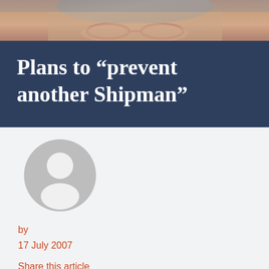[Figure (photo): Partial photo of an elderly person's face (cropped, showing top portion)]
Plans to “prevent another Shipman”
[Figure (illustration): Generic user avatar icon (grey circle with silhouette of person)]
by
17 July 2007
Share this article